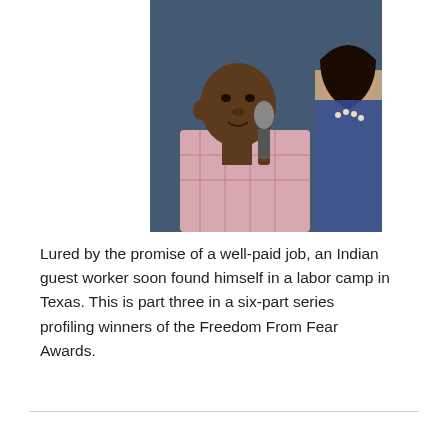[Figure (photo): Two people at a panel event. A dark-skinned man speaking into a microphone on the left, and a woman partially visible on the right, with a blue fabric background.]
Lured by the promise of a well-paid job, an Indian guest worker soon found himself in a labor camp in Texas. This is part three in a six-part series profiling winners of the Freedom From Fear Awards.
READ MORE
FACEBOOK
TWITTER
GOOGLE+
FORWARD
PRINT HTML
1 COMMENT
ADD NEW COMMENT